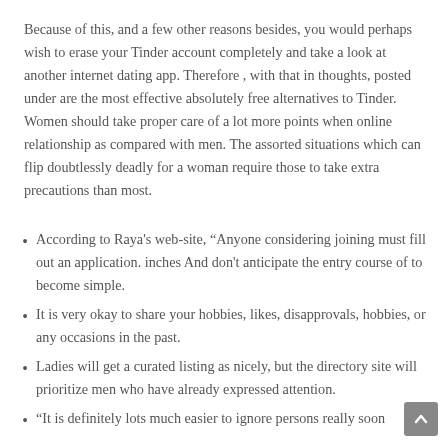Because of this, and a few other reasons besides, you would perhaps wish to erase your Tinder account completely and take a look at another internet dating app. Therefore , with that in thoughts, posted under are the most effective absolutely free alternatives to Tinder. Women should take proper care of a lot more points when online relationship as compared with men. The assorted situations which can flip doubtlessly deadly for a woman require those to take extra precautions than most.
According to Raya's web-site, “Anyone considering joining must fill out an application. inches And don't anticipate the entry course of to become simple.
It is very okay to share your hobbies, likes, disapprovals, hobbies, or any occasions in the past.
Ladies will get a curated listing as nicely, but the directory site will prioritize men who have already expressed attention.
“It is definitely lots much easier to ignore persons really soon